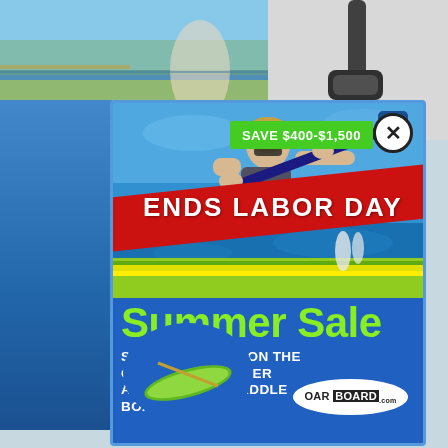[Figure (photo): Background scene: partial outdoor/marina photo on left, paddle/oar photo on upper right, partially obscured by popup ad]
[Figure (infographic): Popup advertisement for Oar Board Summer Sale. Features a woman rowing on a stand-up paddle board on water, a green 'SAVE $400-$1,500' banner, a diagonal red 'ENDS LABOR DAY' banner, Oar Board logo oval, and a blue circle with kayak image. Below the photo: 'Summer Sale' in large green text, 'SPECIAL OFFERS ON THE OAR BOARD® ROWER AND STAND UP PADDLE BOARD COME...' in white bold text. Has a close (X) button in top right corner.]